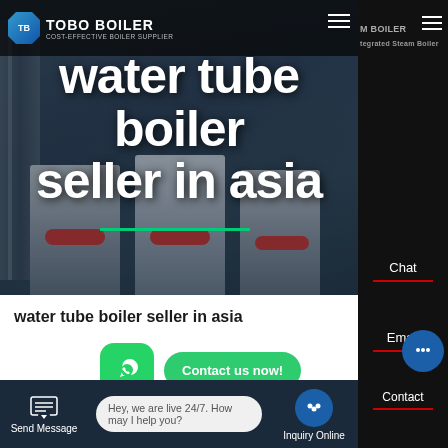[Figure (screenshot): TOBO BOILER website hero section with boiler units image, navigation bar with logo, and large white text overlay reading 'water tube boiler seller in asia']
water tube boiler seller in asia
TOBO BOILER - COST-EFFECTIVE BOILER SUPPLIER
water tube boiler seller in asia
Contact us now!
HOT NEWS
Hey, we are live 24/7. How may I help you?
Send Message
Inquiry Online
Chat
Email
Contact